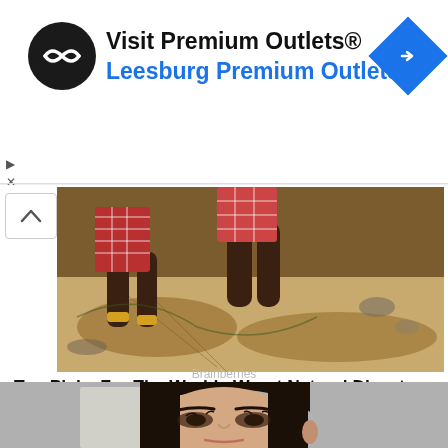[Figure (screenshot): Advertisement banner for Visit Premium Outlets® - Leesburg Premium Outlets with logo circle and navigation icon]
[Figure (photo): Photo of people near muddy/sandy terrain, associated with natural disasters article]
Top Picks For The Worlds Worst Natural Disasters In History
Brainberries
[Figure (photo): Close-up portrait photo of a woman with dark hair and makeup]